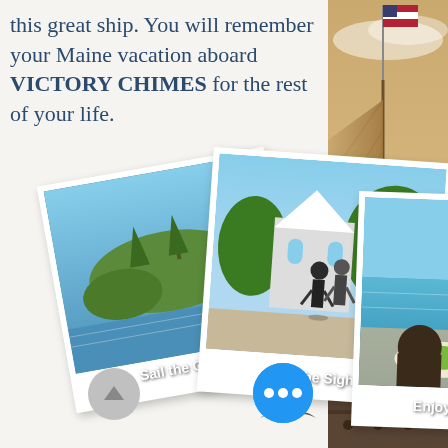this great ship. You will remember your Maine vacation aboard VICTORY CHIMES for the rest of your life.
[Figure (photo): Three overlapping polaroid-style photos: 1) Aerial view of Maine coast with sailboat labeled 'Sail the Coast', 2) Two people walking down a street with a church labeled 'See the Sights', 3) Diners enjoying food on the water labeled 'Enjoy the Cuisine']
[Figure (photo): Seagulls in flight near water, bottom center of page]
[Figure (photo): Tall ship mast with American flag and rigging, right side of page]